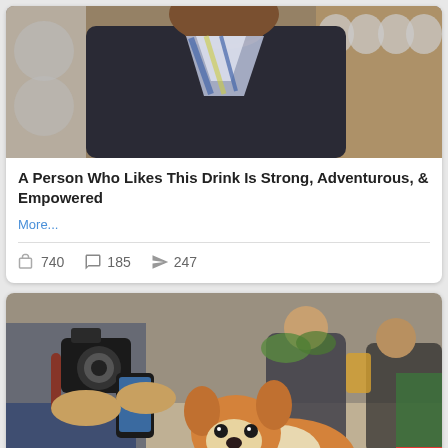[Figure (photo): Person wearing dark t-shirt and striped blue/yellow/white scarf or neckerchief, standing near shelves]
A Person Who Likes This Drink Is Strong, Adventurous, & Empowered
More...
740  185  247
[Figure (photo): People petting and photographing a smiling Corgi dog on the floor; a person holds a camera and phone, others sit in background]